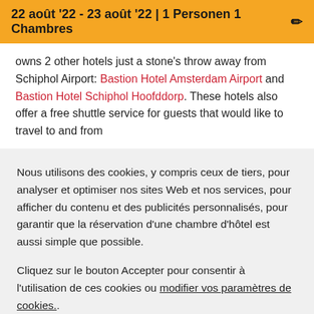22 août '22 - 23 août '22 | 1 Personen 1 Chambres
owns 2 other hotels just a stone's throw away from Schiphol Airport: Bastion Hotel Amsterdam Airport and Bastion Hotel Schiphol Hoofddorp. These hotels also offer a free shuttle service for guests that would like to travel to and from
Nous utilisons des cookies, y compris ceux de tiers, pour analyser et optimiser nos sites Web et nos services, pour afficher du contenu et des publicités personnalisés, pour garantir que la réservation d'une chambre d'hôtel est aussi simple que possible.

Cliquez sur le bouton Accepter pour consentir à l'utilisation de ces cookies ou modifier vos paramètres de cookies..